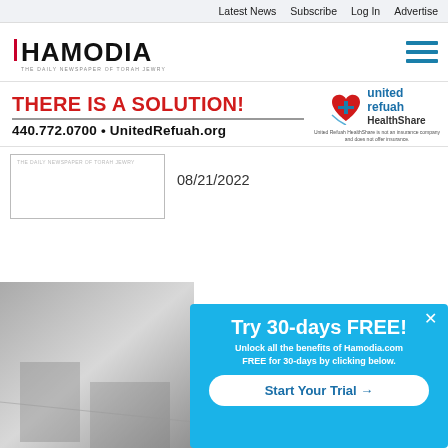Latest News  Subscribe  Log In  Advertise
[Figure (logo): Hamodia newspaper logo — 'HAMODIA THE DAILY NEWSPAPER OF TORAH JEWRY']
[Figure (other): Hamburger menu icon (three horizontal teal lines)]
[Figure (infographic): Advertisement banner: 'THERE IS A SOLUTION! 440.772.0700 • UnitedRefuah.org' with United Refuah HealthShare logo and disclaimer]
[Figure (logo): Hamodia small logo box with tagline 'THE DAILY NEWSPAPER OF TORAH JEWRY']
08/21/2022
[Figure (photo): Black and white photo, partially visible, bottom-left of page]
[Figure (infographic): Popup overlay: 'Try 30-days FREE! Unlock all the benefits of Hamodia.com FREE for 30-days by clicking below.' with 'Start Your Trial →' button and X close button]